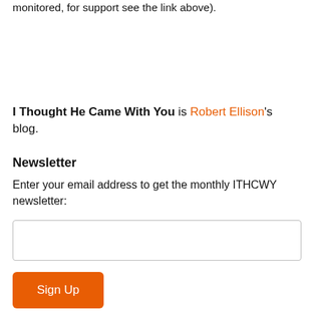monitored, for support see the link above).
I Thought He Came With You is Robert Ellison's blog.
Newsletter
Enter your email address to get the monthly ITHCWY newsletter:
[Figure (other): Email input text field]
[Figure (other): Sign Up button in orange]